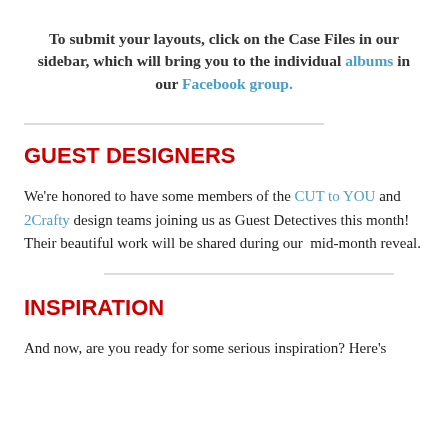To submit your layouts, click on the Case Files in our sidebar, which will bring you to the individual albums in our Facebook group.
GUEST DESIGNERS
We're honored to have some members of the CUT to YOU and 2Crafty design teams joining us as Guest Detectives this month! Their beautiful work will be shared during our  mid-month reveal.
INSPIRATION
And now, are you ready for some serious inspiration? Here's